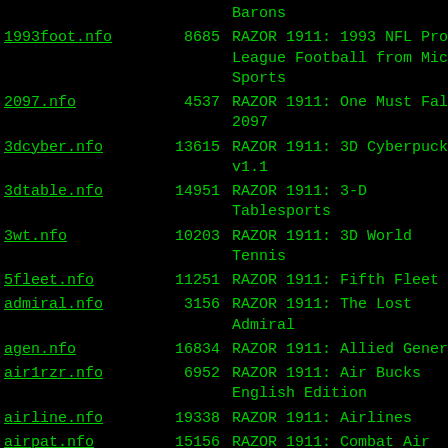| Filename | Size | Description |
| --- | --- | --- |
|  |  | Barons |
| 1993foot.nfo | 8685 | RAZOR 1911: 1993 NFL Pro League Football from Micro Sports |
| 2097.nfo | 4537 | RAZOR 1911: One Must Fall: 2097 |
| 3dcyber.nfo | 13615 | RAZOR 1911: 3D Cyberpuck v1.1 |
| 3dtable.nfo | 14951 | RAZOR 1911: 3-D Tablesports |
| 3wt.nfo | 10203 | RAZOR 1911: 3D World Tennis |
| 5fleet.nfo | 11251 | RAZOR 1911: Fifth Fleet |
| admiral.nfo | 3156 | RAZOR 1911: The Lost Admiral |
| agen.nfo | 16834 | RAZOR 1911: Allied General |
| air1rzr.nfo | 6952 | RAZOR 1911: Air Bucks English Edition |
| airline.nfo | 19338 | RAZOR 1911: Airlines |
| airpat.nfo | 15156 | RAZOR 1911: Combat Air Patrol |
| airwp.nfo | 15345 | RAZOR 1911: Air Warriors Plus |
| amazon.nfo | 11904 | RAZOR 1911: Amazon - Guardians of Eden |
| ambush.nfo | 7812 | RAZOR 1911: Ambush at Sorinor |
| amglad.nfo | 6976 | RAZOR 1911: American Gladiators |
| amgladox.nfo | 6644 | RAZOR 1911: American Gladiators (Razordox) |
| another.nfo | 5652 | RAZOR 1911: Another World, English Version |